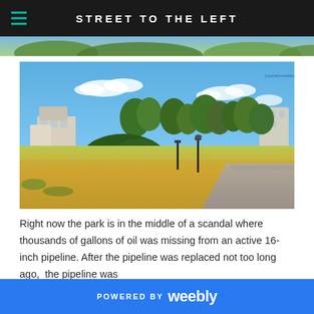STREET TO THE LEFT
[Figure (photo): Outdoor park scene with dry grass, shrubs, a gravel path, trees, and buildings in the background under a clear blue sky. Watermark reads 'LauraGonzalez©'.]
Right now the park is in the middle of a scandal where thousands of gallons of oil was missing from an active 16-inch pipeline. After the pipeline was replaced not too long ago,  the pipeline was
POWERED BY weebly